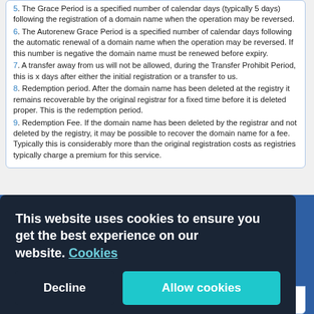5. The Grace Period is a specified number of calendar days (typically 5 days) following the registration of a domain name when the operation may be reversed.
6. The Autorenew Grace Period is a specified number of calendar days following the automatic renewal of a domain name when the operation may be reversed. If this number is negative the domain name must be renewed before expiry.
7. A transfer away from us will not be allowed, during the Transfer Prohibit Period, this is x days after either the initial registration or a transfer to us.
8. Redemption period. After the domain name has been deleted at the registry it remains recoverable by the original registrar for a fixed time before it is deleted proper. This is the redemption period.
9. Redemption Fee. If the domain name has been deleted by the registrar and not deleted by the registry, it may be possible to recover the domain name for a fee. Typically this is considerably more than the original registration costs as registries typically charge a premium for this service.
[Figure (screenshot): Cookie consent banner overlay on dark navy background with text 'This website uses cookies to ensure you get the best experience on our website. Cookies' and two buttons: 'Decline' and 'Allow cookies' (teal).]
other costs involved when registering domain names, no transfer fees and no hidden costs.